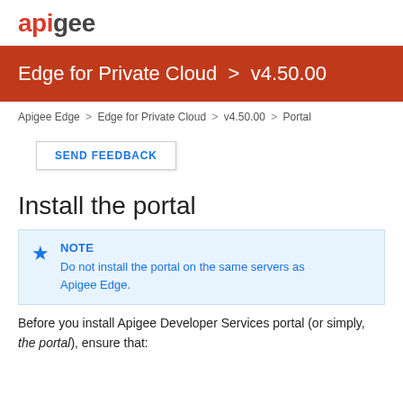apigee
Edge for Private Cloud > v4.50.00
Apigee Edge > Edge for Private Cloud > v4.50.00 > Portal
SEND FEEDBACK
Install the portal
NOTE
Do not install the portal on the same servers as Apigee Edge.
Before you install Apigee Developer Services portal (or simply, the portal), ensure that: